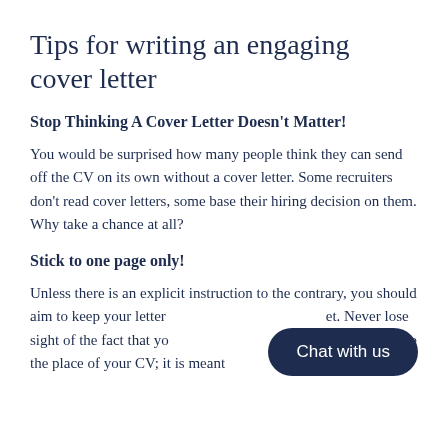Tips for writing an engaging cover letter
Stop Thinking A Cover Letter Doesn't Matter!
You would be surprised how many people think they can send off the CV on its own without a cover letter. Some recruiters don't read cover letters, some base their hiring decision on them. Why take a chance at all?
Stick to one page only!
Unless there is an explicit instruction to the contrary, you should aim to keep your letter to one sheet. Never lose sight of the fact that your cover letter is not intended to take the place of your CV; it is meant